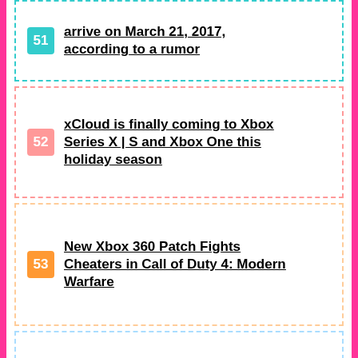51 arrive on March 21, 2017, according to a rumor
52 xCloud is finally coming to Xbox Series X | S and Xbox One this holiday season
53 New Xbox 360 Patch Fights Cheaters in Call of Duty 4: Modern Warfare
54 Crash Bandicoot: The Wrath of Cortex Now Xbox Live Deal of the